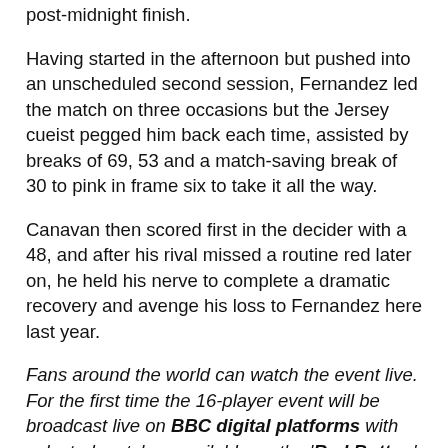post-midnight finish.
Having started in the afternoon but pushed into an unscheduled second session, Fernandez led the match on three occasions but the Jersey cueist pegged him back each time, assisted by breaks of 69, 53 and a match-saving break of 30 to pink in frame six to take it all the way.
Canavan then scored first in the decider with a 48, and after his rival missed a routine red later on, he held his nerve to complete a dramatic recovery and avenge his loss to Fernandez here last year.
Fans around the world can watch the event live. For the first time the 16-player event will be broadcast live on BBC digital platforms with selected matches available on the 'Red Button'. Coverage in China will be shown on major digital TV platforms